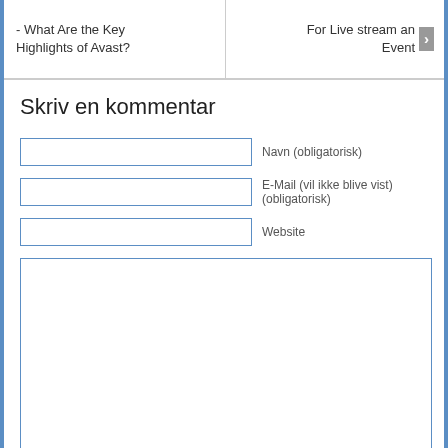- What Are the Key Highlights of Avast? | For Live stream an Event
Skriv en kommentar
Navn (obligatorisk)
E-Mail (vil ikke blive vist) (obligatorisk)
Website